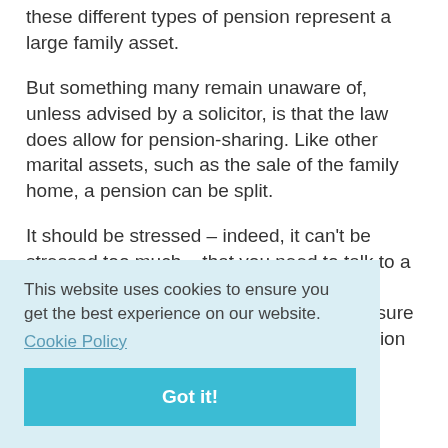these different types of pension represent a large family asset.
But something many remain unaware of, unless advised by a solicitor, is that the law does allow for pension-sharing. Like other marital assets, such as the sale of the family home, a pension can be split.
It should be stressed – indeed, it can't be stressed too much – that you need to talk to a [partially obscured text continues] ...our ...ut ...n ...ion ...e
This website uses cookies to ensure you get the best experience on our website.
Cookie Policy
Got it!